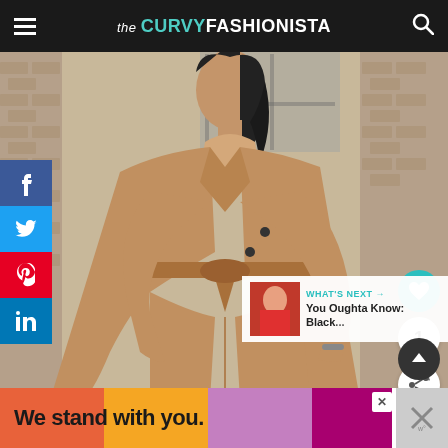the CURVY FASHIONISTA
[Figure (photo): Fashion photo of a woman wearing a camel-colored blazer suit with a tied waist belt, standing against a brick wall background. Social media share buttons (Facebook, Twitter, Pinterest, LinkedIn) shown on the left sidebar. Heart, count (1), and share buttons on the right.]
[Figure (infographic): What's Next panel showing a thumbnail of a woman in red dress with text 'WHAT'S NEXT → You Oughta Know: Black...']
We stand with you.